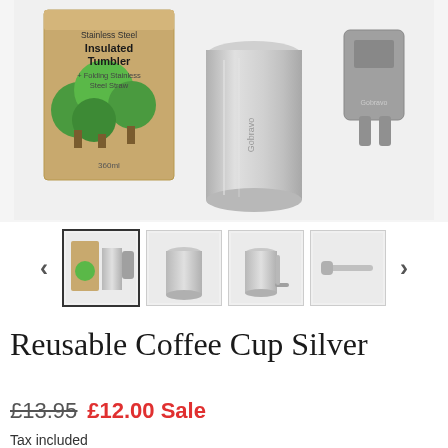[Figure (photo): Product photo showing a stainless steel insulated tumbler with its cardboard packaging box (green tree illustration, '360ml'), a plain stainless steel tumbler cup, and a grey Gobravo branded portable item, all on a white/light grey background.]
[Figure (photo): Thumbnail carousel with 4 product images and left/right navigation arrows. First thumbnail (selected/outlined) shows all items together. Second shows the tumbler alone. Third shows tumbler with straw. Fourth shows a straw/accessory. Navigation arrows on left and right.]
Reusable Coffee Cup Silver
£13.95 £12.00 Sale
Tax included